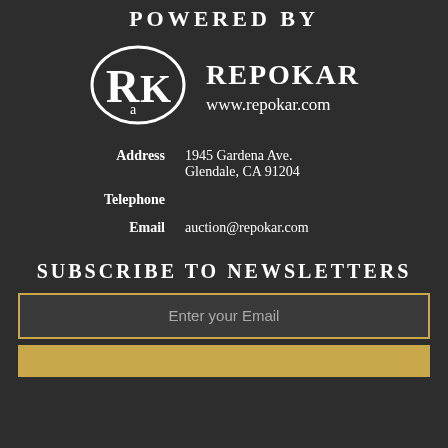POWERED BY
[Figure (logo): Repokar logo: stylized RK letters inside an oval, white on dark background]
REPOKAR
www.repokar.com
Address    1945 Gardena Ave.
Glendale, CA 91204
Telephone
Email    auction@repokar.com
SUBSCRIBE TO NEWSLETTERS
Enter your Email